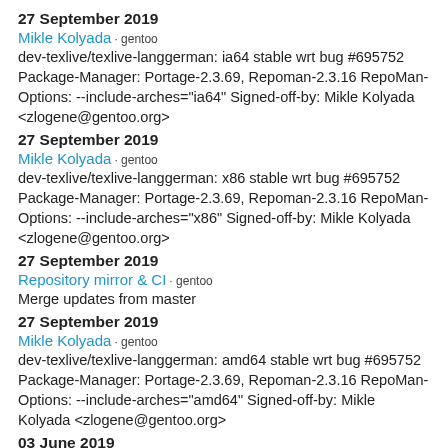27 September 2019
Mikle Kolyada · gentoo
dev-texlive/texlive-langgerman: ia64 stable wrt bug #695752 Package-Manager: Portage-2.3.69, Repoman-2.3.16 RepoMan-Options: --include-arches="ia64" Signed-off-by: Mikle Kolyada <zlogene@gentoo.org>
27 September 2019
Mikle Kolyada · gentoo
dev-texlive/texlive-langgerman: x86 stable wrt bug #695752 Package-Manager: Portage-2.3.69, Repoman-2.3.16 RepoMan-Options: --include-arches="x86" Signed-off-by: Mikle Kolyada <zlogene@gentoo.org>
27 September 2019
Repository mirror & CI · gentoo
Merge updates from master
27 September 2019
Mikle Kolyada · gentoo
dev-texlive/texlive-langgerman: amd64 stable wrt bug #695752 Package-Manager: Portage-2.3.69, Repoman-2.3.16 RepoMan-Options: --include-arches="amd64" Signed-off-by: Mikle Kolyada <zlogene@gentoo.org>
03 June 2019